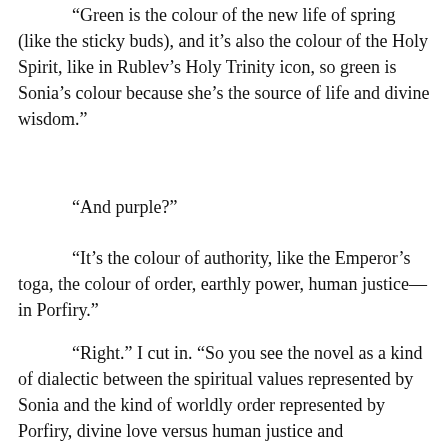“Green is the colour of the new life of spring (like the sticky buds), and it’s also the colour of the Holy Spirit, like in Rublev’s Holy Trinity icon, so green is Sonia’s colour because she’s the source of life and divine wisdom.”
“And purple?”
“It’s the colour of authority, like the Emperor’s toga, the colour of order, earthly power, human justice—in Porfiry.”
“Right.” I cut in. “So you see the novel as a kind of dialectic between the spiritual values represented by Sonia and the kind of worldly order represented by Porfiry, divine love versus human justice and Raskolnikov